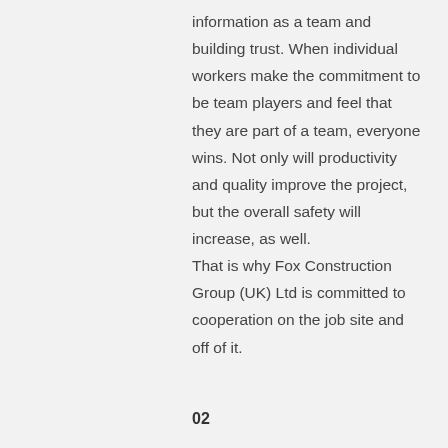information as a team and building trust. When individual workers make the commitment to be team players and feel that they are part of a team, everyone wins. Not only will productivity and quality improve the project, but the overall safety will increase, as well. That is why Fox Construction Group (UK) Ltd is committed to cooperation on the job site and off of it.
02